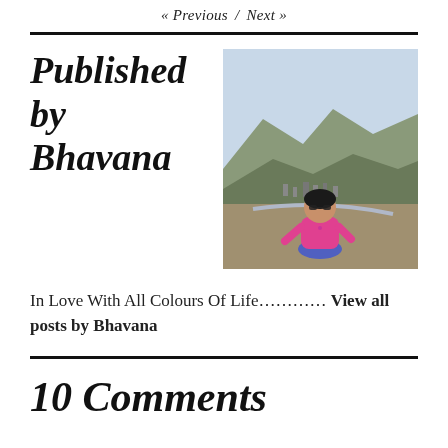« Previous / Next »
Published by Bhavana
[Figure (photo): Photo of Bhavana, a woman in a pink top and blue pants sitting outdoors with mountains and a valley town visible in the background]
In Love With All Colours Of Life………… View all posts by Bhavana
10 Comments